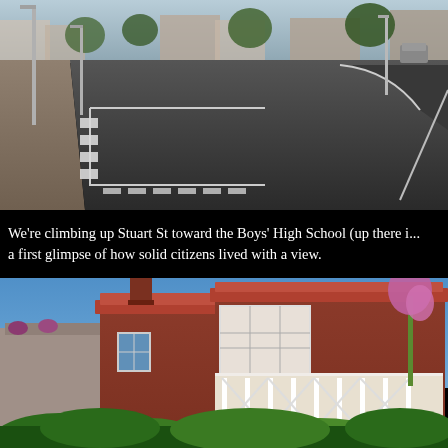[Figure (photo): Street-level view looking up Stuart St toward Boys' High School. Dark asphalt road with pedestrian crossing dashes and painted box markings, light poles on left, buildings visible in background distance.]
We're climbing up Stuart St toward the Boys' High School (up there in a first glimpse of how solid citizens lived with a view.
[Figure (photo): Victorian-era two-storey brick house with terracotta tile roof, white decorative veranda and balcony trim, bay windows, viewed from below against clear blue sky. Lush garden vegetation and flowering plants in foreground.]